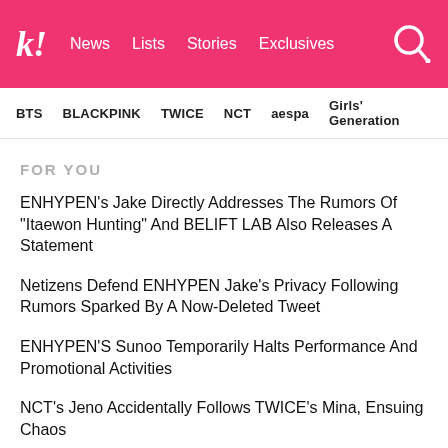k! News Lists Stories Exclusives
BTS BLACKPINK TWICE NCT aespa Girls' Generation
FOR YOU
ENHYPEN's Jake Directly Addresses The Rumors Of "Itaewon Hunting" And BELIFT LAB Also Releases A Statement
Netizens Defend ENHYPEN Jake's Privacy Following Rumors Sparked By A Now-Deleted Tweet
ENHYPEN'S Sunoo Temporarily Halts Performance And Promotional Activities
NCT's Jeno Accidentally Follows TWICE's Mina, Ensuing Chaos
BLACKPINK's Lisa Wins "Best K-Pop" At 2022 VMAs